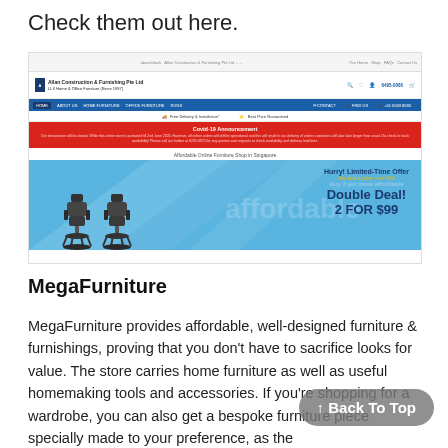Check them out here.
[Figure (screenshot): Screenshot of Allan Construction & Furnishing Pte Ltd website showing navigation bar, Covid-19 announcement banner, tagline 'Affordable Online Furniture Shop in Singapore', and a promotional banner for Double Deal 2 FOR $99 office chairs.]
MegaFurniture
MegaFurniture provides affordable, well-designed furniture & furnishings, proving that you don't have to sacrifice looks for value. The store carries home furniture as well as useful homemaking tools and accessories. If you're shopping for a wardrobe, you can also get a bespoke furniture piece specially made to your preference, as the